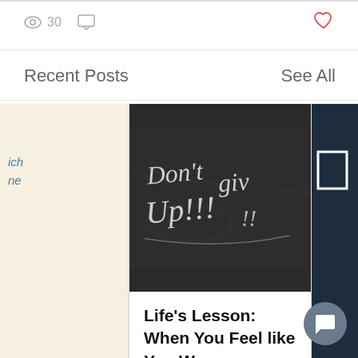30 views, 0 comments, heart/like button
Recent Posts
See All
[Figure (screenshot): Partial left blog post card with cream background and blue text 'ich ne']
[Figure (photo): Chalkboard with chalk handwriting saying Don't give Up!!!]
Life's Lesson: When You Feel like You Wa...
16 views, 0 comments
[Figure (photo): Partial right card with dark blue/teal image showing a white frame/square]